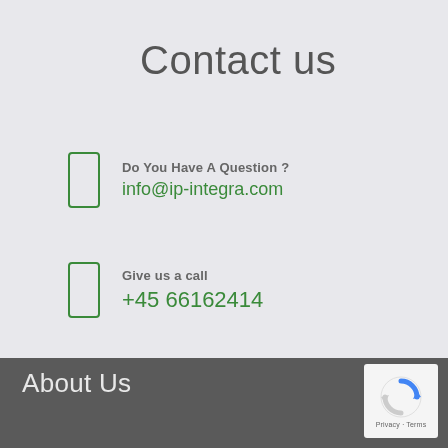Contact us
Do You Have A Question ?
info@ip-integra.com
Give us a call
+45 66162414
About Us
[Figure (logo): Google reCAPTCHA logo with Privacy - Terms text]